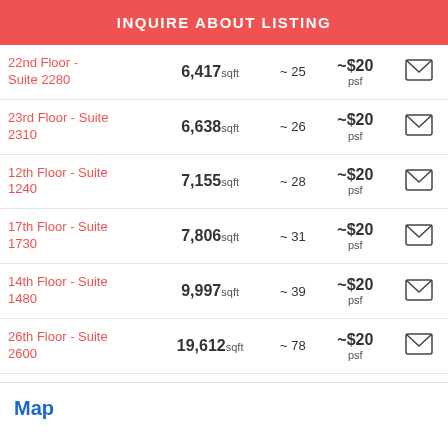INQUIRE ABOUT LISTING
| Suite | Size | People | Price | Contact |
| --- | --- | --- | --- | --- |
| 22nd Floor - Suite 2280 | 6,417sqft | ~ 25 | ~$20 psf |  |
| 23rd Floor - Suite 2310 | 6,638sqft | ~ 26 | ~$20 psf |  |
| 12th Floor - Suite 1240 | 7,155sqft | ~ 28 | ~$20 psf |  |
| 17th Floor - Suite 1730 | 7,806sqft | ~ 31 | ~$20 psf |  |
| 14th Floor - Suite 1480 | 9,997sqft | ~ 39 | ~$20 psf |  |
| 26th Floor - Suite 2600 | 19,612sqft | ~ 78 | ~$20 psf |  |
Map